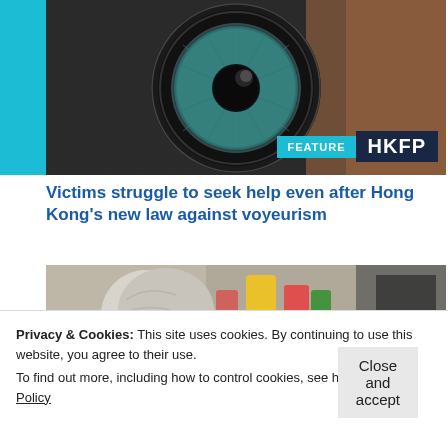[Figure (photo): Close-up of a camera lens with a teal/green iris eye visible through the lens, and a blurred background on the right side]
Victims struggle to seek help even after Hong Kong's new law against voyeurism
[Figure (photo): Elderly person with white/grey hair viewed from above, colorful bottles and objects visible in the blurry background]
Privacy & Cookies: This site uses cookies. By continuing to use this website, you agree to their use.
To find out more, including how to control cookies, see here: Cookie Policy
Close and accept